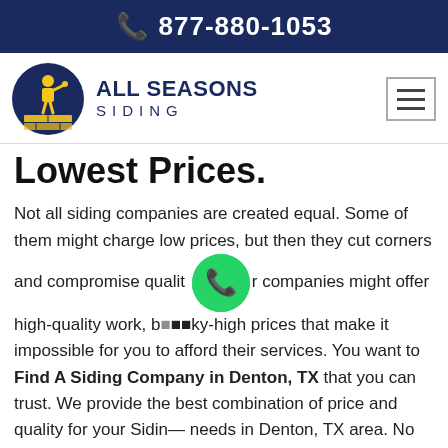877-880-1053
[Figure (logo): All Seasons Siding logo with circular dark blue background showing a yellow worker figure and brick layers, next to text ALL SEASONS SIDING]
Lowest Prices.
Not all siding companies are created equal. Some of them might charge low prices, but then they cut corners and compromise quality. Other companies might offer high-quality work, but sky-high prices that make it impossible for you to afford their services. You want to Find A Siding Company in Denton, TX that you can trust. We provide the best combination of price and quality for your Siding needs in Denton, TX area. No matter if you need replacement windows or doors, we'll help you get the best deals with the best quality.